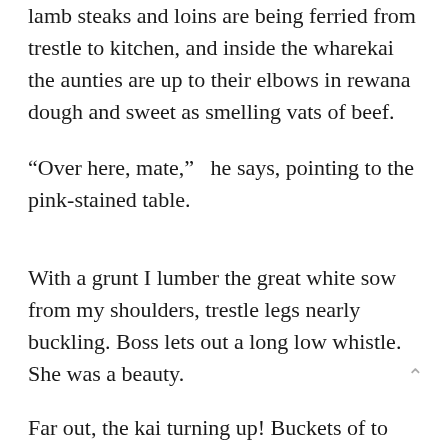lamb steaks and loins are being ferried from trestle to kitchen, and inside the wharekai the aunties are up to their elbows in rewana dough and sweet as smelling vats of beef.
“Over here, mate,”   he says, pointing to the pink-stained table.
With a grunt I lumber the great white sow from my shoulders, trestle legs nearly buckling. Boss lets out a long low whistle. She was a beauty.
Far out, the kai turning up! Buckets of to